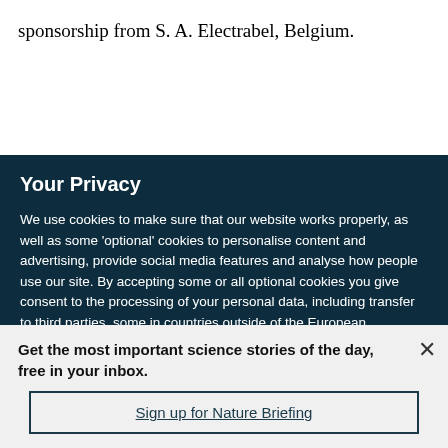sponsorship from S. A. Electrabel, Belgium.
Your Privacy
We use cookies to make sure that our website works properly, as well as some ‘optional’ cookies to personalise content and advertising, provide social media features and analyse how people use our site. By accepting some or all optional cookies you give consent to the processing of your personal data, including transfer to third parties, some in countries outside of the European Economic Area that do not offer the same data protection standards as the country where you live. You can decide which optional cookies to accept by clicking on ‘Manage Settings’, where you can
Get the most important science stories of the day, free in your inbox.
Sign up for Nature Briefing